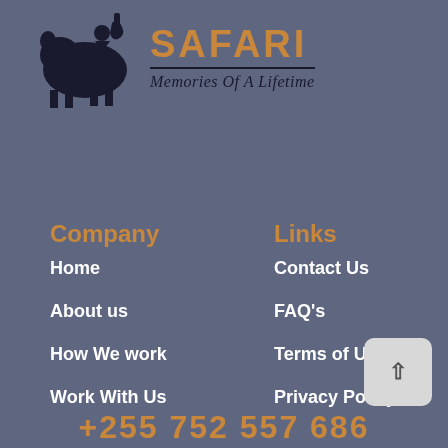[Figure (logo): Safari company logo with animal silhouette icon and text 'SAFARI Memories Of A Lifetime']
Company
Links
Home
Contact Us
About us
FAQ's
How We work
Terms of Use
Work With Us
Privacy Policy
+255 752 557 686